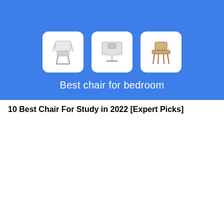[Figure (illustration): Blue banner showing three product chairs in white rounded boxes with text 'Best chair for bedroom']
10 Best Chair For Study in 2022 [Expert Picks]
[Figure (illustration): Blue banner showing three study/office chairs in white rounded boxes with watermark 'LinuxLaboratory' and text 'Best chair for study', with a scroll-to-top button]